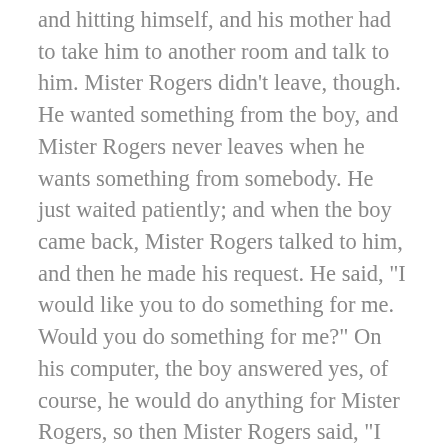and hitting himself, and his mother had to take him to another room and talk to him. Mister Rogers didn't leave, though. He wanted something from the boy, and Mister Rogers never leaves when he wants something from somebody. He just waited patiently; and when the boy came back, Mister Rogers talked to him, and then he made his request. He said, “I would like you to do something for me. Would you do something for me?” On his computer, the boy answered yes, of course, he would do anything for Mister Rogers, so then Mister Rogers said, “I would like you to pray for me. Will you pray for me?” And now the boy didn’t know how to respond. He was thunderstruck. Thunderstruck means that you can’t talk, because something has happened that’s as sudden and as miraculous and maybe as scary as a bolt of lightning, and all you can do is listen to the